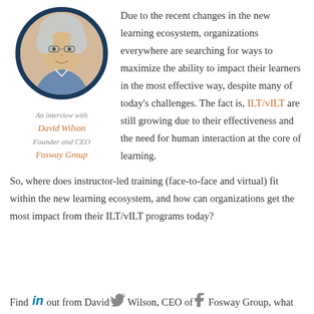[Figure (photo): Headshot of David Wilson, a middle-aged man with grey/white hair and glasses, inside a circular dark navy border]
An interview with David Wilson Founder and CEO Fosway Group
Due to the recent changes in the new learning ecosystem, organizations everywhere are searching for ways to maximize the ability to impact their learners in the most effective way, despite many of today's challenges. The fact is, ILT/vILT are still growing due to their effectiveness and the need for human interaction at the core of learning.
So, where does instructor-led training (face-to-face and virtual) fit within the new learning ecosystem, and how can organizations get the most impact from their ILT/vILT programs today?
Find out from David Wilson, CEO of Fosway Group, what